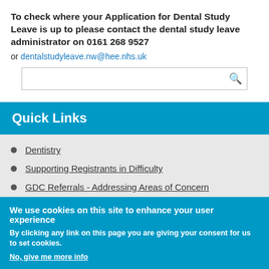To check where your Application for Dental Study Leave is up to please contact the dental study leave administrator on 0161 268 9527
or dentalstudyleave.nw@hee.nhs.uk
Quick Links
Dentistry
Supporting Registrants in Difficulty
GDC Referrals - Addressing Areas of Concern
Meet the Team
Dental Courses
GDC Referrals - Conditions Imposed on Registration
We use cookies on this site to enhance your user experience
By clicking any link on this page you are giving your consent for us to set cookies.
No, give me more info